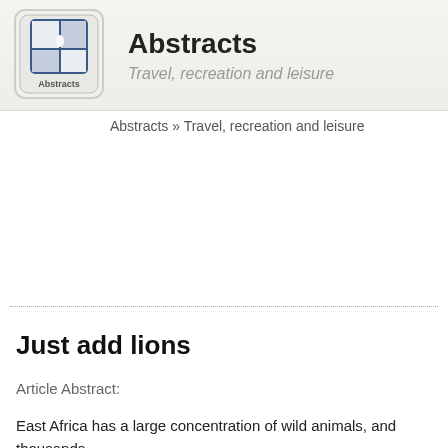[Figure (logo): Abstracts logo: a keyboard key with puzzle piece icon and 'Abstracts' text]
Abstracts
Travel, recreation and leisure
Abstracts » Travel, recreation and leisure
Just add lions
Article Abstract:
East Africa has a large concentration of wild animals, and thousands